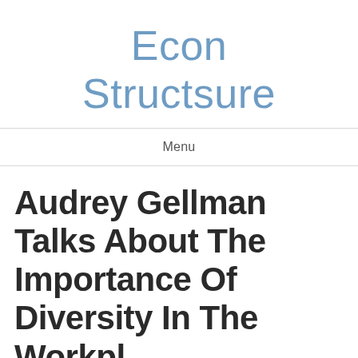Econ Structsure
Menu
Audrey Gellman Talks About The Importance Of Diversity In The Workplace